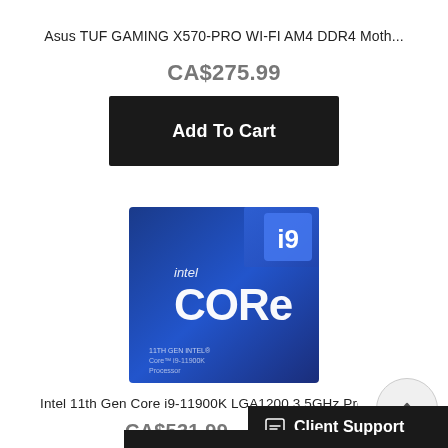Asus TUF GAMING X570-PRO WI-FI AM4 DDR4 Moth...
CA$275.99
Add To Cart
[Figure (photo): Intel Core i9 processor box - blue packaging with 'intel CORE i9' branding and 11th Gen details]
Intel 11th Gen Core i9-11900K LGA1200 3.5GHz Proce
CA$531.99
Client Support